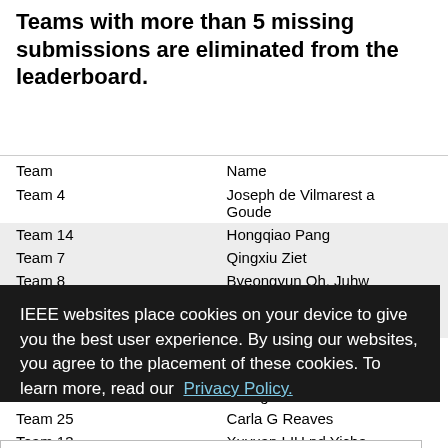Teams with more than 5 missing submissions are eliminated from the leaderboard.
| Team | Name |
| --- | --- |
| Team 4 | Joseph de Vilmarest a Goude |
| Team 14 | Hongqiao Pang |
| Team 7 | Qingxu Ziet |
| Team 8 | Byeongyun Oh, Juhw |
| Team 2 | Jiyul Sun Oh, Geonhe |
| Team 5 | Jahee Lee |
| Team 18 | Info release consent n |
| Team 23 | Info release consent n |
| Team 9 | Youngho Cho |
| Team 25 | Carla G Reaves |
| Team 13 | Xuyuan LIU nd Yiche |
| Team 26 | Info release consent n |
IEEE websites place cookies on your device to give you the best user experience. By using our websites, you agree to the placement of these cookies. To learn more, read our Privacy Policy.